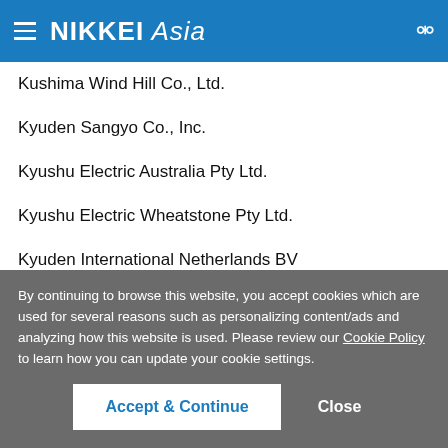NIKKEI Asia
Kushima Wind Hill Co., Ltd.
Kyuden Sangyo Co., Inc.
Kyushu Electric Australia Pty Ltd.
Kyushu Electric Wheatstone Pty Ltd.
Kyuden International Netherlands BV
Kyuden Sarulla Pte Ltd.
Kyushu Electric Power Pension Fund
By continuing to browse this website, you accept cookies which are used for several reasons such as personalizing content/ads and analyzing how this website is used. Please review our Cookie Policy to learn how you can update your cookie settings.